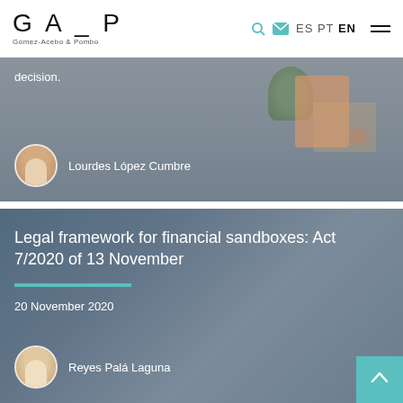GA_P Gómez-Acebo & Pombo — Navigation bar with ES PT EN language selector
decision.
Lourdes López Cumbre
Legal framework for financial sandboxes: Act 7/2020 of 13 November
20 November 2020
Reyes Palá Laguna